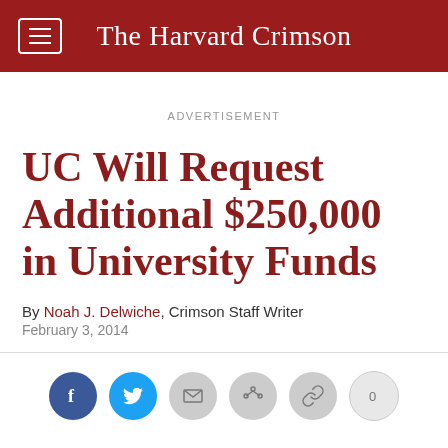The Harvard Crimson
ADVERTISEMENT
UC Will Request Additional $250,000 in University Funds
By Noah J. Delwiche, Crimson Staff Writer
February 3, 2014
[Figure (other): Social sharing buttons: Facebook, Twitter, Email, Share, Link, and a count button showing 0]